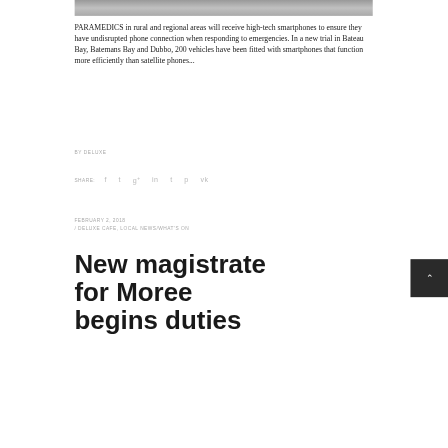[Figure (photo): Partial photo strip at top of page showing a grey/road scene]
PARAMEDICS in rural and regional areas will receive high-tech smartphones to ensure they have undisrupted phone connection when responding to emergencies. In a new trial in Bateau Bay, Batemans Bay and Dubbo, 200 vehicles have been fitted with smartphones that function more efficiently than satellite phones...
BY DELUXE
SHARE:  f  t  g+  in  t  p  vk
FEBRUARY 2, 2018 / DELUXE CAFE, LOCAL NEWS/WHAT'S ON
New magistrate for Moree begins duties